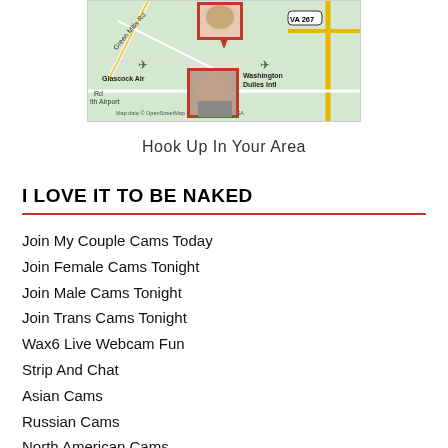[Figure (map): A map showing the area near Washington Dulles International Airport and Glascock Airport, with OpenStreetMap data. Red rectangles indicate pinned user photos on the map. VA 267 road label visible. Map data © OpenStreetMap contributors, CC-BY-SA.]
Hook Up In Your Area
I LOVE IT TO BE NAKED
Join My Couple Cams Today
Join Female Cams Tonight
Join Male Cams Tonight
Join Trans Cams Tonight
Wax6 Live Webcam Fun
Strip And Chat
Asian Cams
Russian Cams
North American Cams